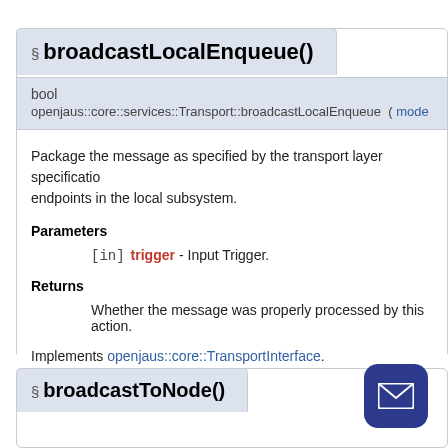§ broadcastLocalEnqueue()
bool
openjaus::core::services::Transport::broadcastLocalEnqueue ( mode
Package the message as specified by the transport layer specification and send it to all endpoints in the local subsystem.
Parameters
[in] trigger - Input Trigger.
Returns
Whether the message was properly processed by this action.
Implements openjaus::core::TransportInterface.
§ broadcastToNode()